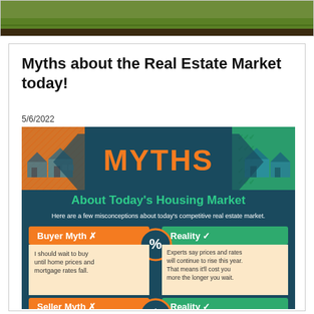[Figure (photo): Green lawn / garden photo strip at top of page]
Myths about the Real Estate Market today!
5/6/2022
[Figure (infographic): Myths About Today's Housing Market infographic. Shows 'Buyer Myth X' vs 'Reality checkmark': myth says 'I should wait to buy until home prices and mortgage rates fall.' Reality says 'Experts say prices and rates will continue to rise this year. That means it'll cost you more the longer you wait.' Then 'Seller Myth X' vs 'Reality checkmark': partially visible, text 'You can\'t pick just any...']